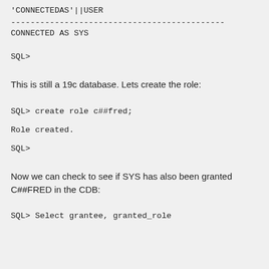'CONNECTEDAS'||USER
--------------------------------------------
CONNECTED AS SYS
SQL>
This is still a 19c database. Lets create the role:
SQL> create role c##fred;
Role created.
SQL>
Now we can check to see if SYS has also been granted C##FRED in the CDB:
SQL> Select grantee, granted_role...